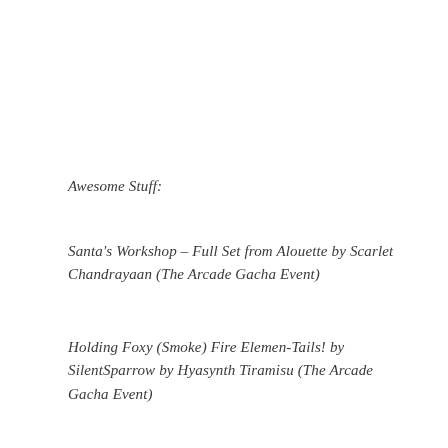Awesome Stuff:
Santa's Workshop – Full Set from Alouette by Scarlet Chandrayaan (The Arcade Gacha Event)
Holding Foxy (Smoke) Fire Elemen-Tails! by SilentSparrow by Hyasynth Tiramisu (The Arcade Gacha Event)